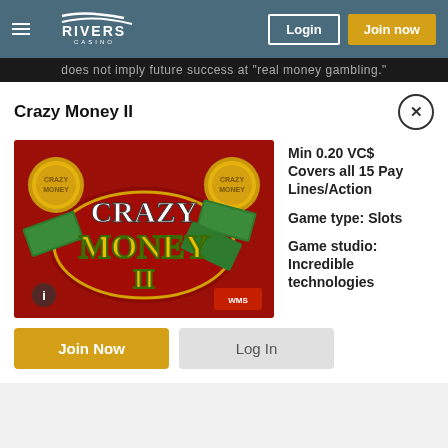Rivers Casino — Login | Join now
does not imply future success at "real money gambling."
Crazy Money II
[Figure (screenshot): Crazy Money II slot game thumbnail - red background with gold coins, dollar bills, and stylized CRAZY MONEY II logo in yellow and green 3D text]
Min 0.20 VC$ Covers all 15 Pay Lines/Action

Game type: Slots

Game studio: Incredible technologies
Join Now | Log In
Join Now | Log In